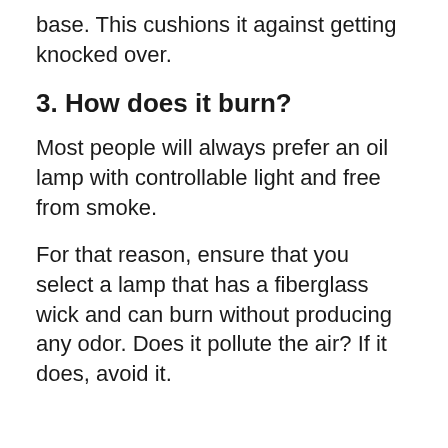base. This cushions it against getting knocked over.
3. How does it burn?
Most people will always prefer an oil lamp with controllable light and free from smoke.
For that reason, ensure that you select a lamp that has a fiberglass wick and can burn without producing any odor. Does it pollute the air? If it does, avoid it.